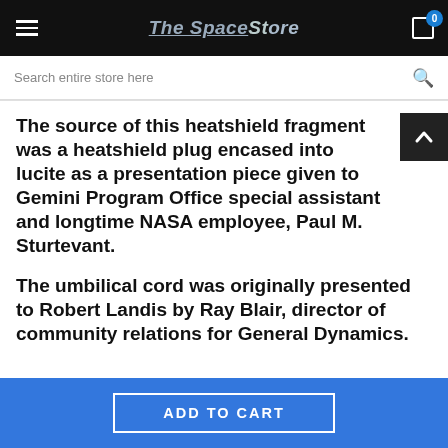The Space Store — header with hamburger menu, logo, and cart icon (0 items)
Search entire store here
The source of this heatshield fragment was a heatshield plug encased into lucite as a presentation piece given to Gemini Program Office special assistant and longtime NASA employee, Paul M. Sturtevant.
The umbilical cord was originally presented to Robert Landis by Ray Blair, director of community relations for General Dynamics.
ADD TO CART